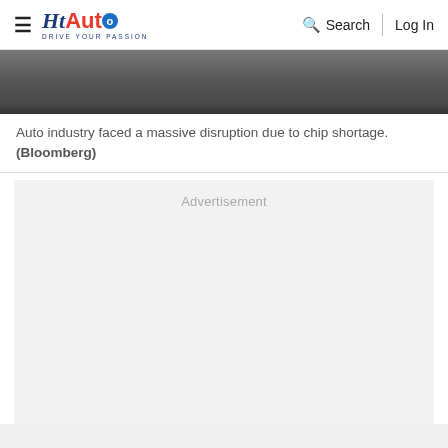HT Auto - Drive Your Passion | Search | Log In
[Figure (photo): Partial view of automotive machinery/chip-related equipment against a dark background]
Auto industry faced a massive disruption due to chip shortage. (Bloomberg)
Advertisement